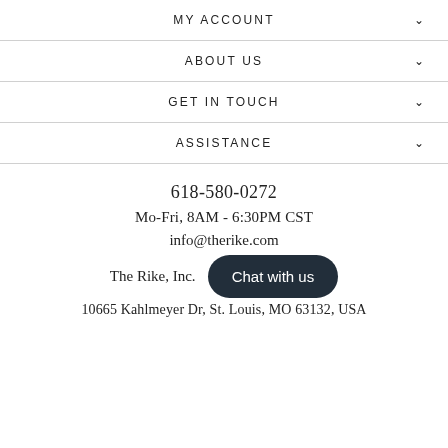MY ACCOUNT
ABOUT US
GET IN TOUCH
ASSISTANCE
618-580-0272
Mo-Fri, 8AM - 6:30PM CST
info@therike.com
The Rike, Inc.
10665 Kahlmeyer Dr, St. Louis, MO 63132, USA